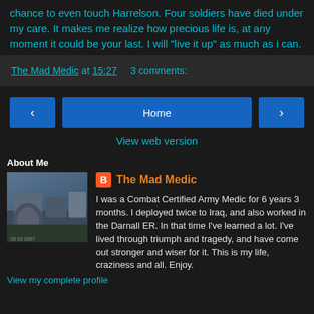chance to even touch Harrelson. Four soldiers have died under my care. It makes me realize how precious life is, at any moment it could be your last. I will "live it up" as much as i can.
The Mad Medic at 15:27   3 comments:
Home
View web version
About Me
The Mad Medic
I was a Combat Certified Army Medic for 6 years 3 months. I deployed twice to Iraq, and also worked in the Darnall ER. In that time I've learned a lot. I've lived through triumph and tragedy, and have come out stronger and wiser for it. This is my life, craziness and all. Enjoy.
View my complete profile